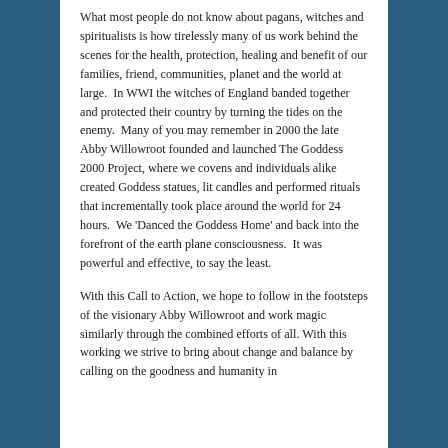What most people do not know about pagans, witches and spiritualists is how tirelessly many of us work behind the scenes for the health, protection, healing and benefit of our families, friend, communities, planet and the world at large.  In WWI the witches of England banded together and protected their country by turning the tides on the enemy.  Many of you may remember in 2000 the late Abby Willowroot founded and launched The Goddess 2000 Project, where we covens and individuals alike created Goddess statues, lit candles and performed rituals that incrementally took place around the world for 24 hours.  We 'Danced the Goddess Home' and back into the forefront of the earth plane consciousness.  It was powerful and effective, to say the least.
With this Call to Action, we hope to follow in the footsteps of the visionary Abby Willowroot and work magic similarly through the combined efforts of all. With this working we strive to bring about change and balance by calling on the goodness and humanity in